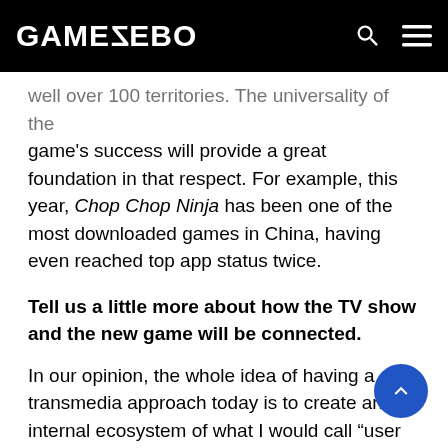GAMEZEBO
well over 100 territories. The universality of the game's success will provide a great foundation in that respect. For example, this year, Chop Chop Ninja has been one of the most downloaded games in China, having even reached top app status twice.
Tell us a little more about how the TV show and the new game will be connected.
In our opinion, the whole idea of having a transmedia approach today is to create an internal ecosystem of what I would call “user migrations.” So if, say, 5 million players play the game in the US and you have an unlockable item that requires them to play a game on the network’s web site or to watch for a QR